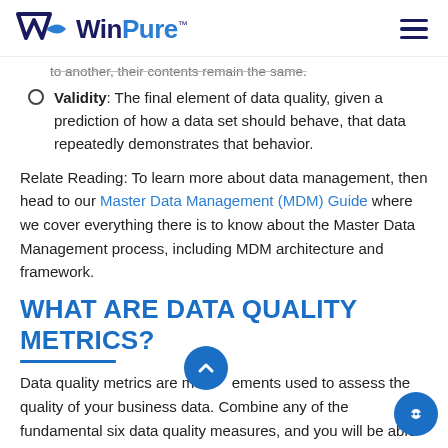WinPure
to another, their contents remain the same.
Validity: The final element of data quality, given a prediction of how a data set should behave, that data repeatedly demonstrates that behavior.
Relate Reading: To learn more about data management, then head to our Master Data Management (MDM) Guide where we cover everything there is to know about the Master Data Management process, including MDM architecture and framework.
WHAT ARE DATA QUALITY METRICS?
Data quality metrics are measurements used to assess the quality of your business data. Combine any of the fundamental six data quality measures, and you will be able